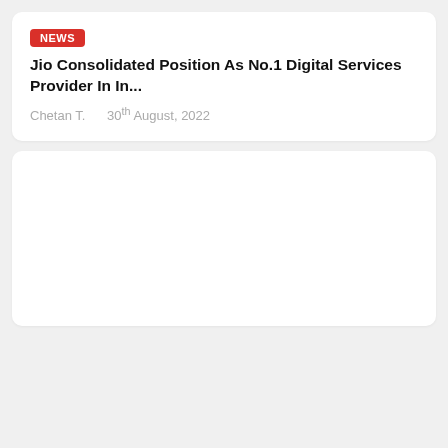Jio Consolidated Position As No.1 Digital Services Provider In In...
Chetan T.    30th August, 2022